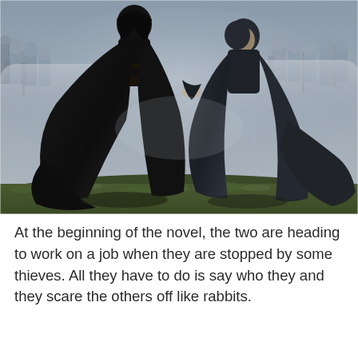[Figure (illustration): Fantasy battle scene illustration showing two cloaked figures in dark robes — one prominently in the foreground wearing a long black cloak and sword — standing on grassy ground with armored soldiers fighting in a misty background.]
At the beginning of the novel, the two are heading to work on a job when they are stopped by some thieves. All they have to do is say who they and they scare the others off like rabbits.